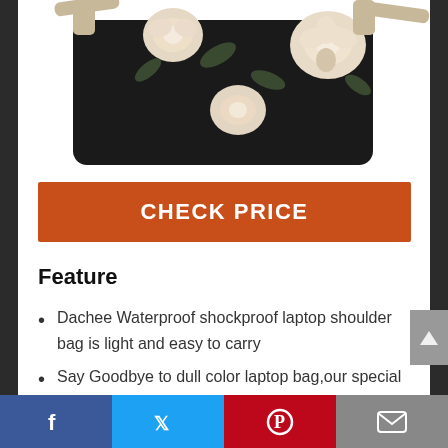[Figure (photo): Partial product photo of a black floral laptop shoulder bag with cream/beige roses and leaves pattern, shown at an angle with shoulder straps visible, cropped at top.]
CHECK PRICE
Feature
Dachee Waterproof shockproof laptop shoulder bag is light and easy to carry
Say Goodbye to dull color laptop bag,our special patten laptop bag make you unique
Facebook | Twitter | Pinterest | Email social share bar